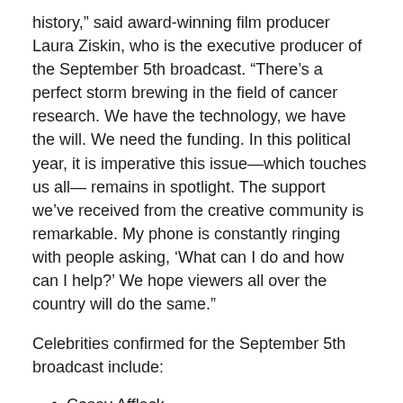history,” said award-winning film producer Laura Ziskin, who is the executive producer of the September 5th broadcast. “There’s a perfect storm brewing in the field of cancer research. We have the technology, we have the will. We need the funding. In this political year, it is imperative this issue—which touches us all— remains in spotlight. The support we’ve received from the creative community is remarkable. My phone is constantly ringing with people asking, ‘What can I do and how can I help?’ We hope viewers all over the country will do the same.”
Celebrities confirmed for the September 5th broadcast include:
Casey Affleck
Dana Delany
America Ferrera